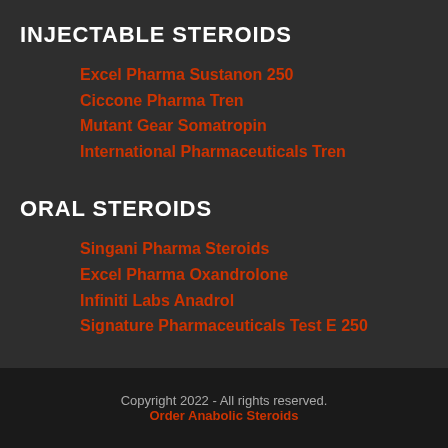INJECTABLE STEROIDS
Excel Pharma Sustanon 250
Ciccone Pharma Tren
Mutant Gear Somatropin
International Pharmaceuticals Tren
ORAL STEROIDS
Singani Pharma Steroids
Excel Pharma Oxandrolone
Infiniti Labs Anadrol
Signature Pharmaceuticals Test E 250
Copyright 2022 - All rights reserved.
Order Anabolic Steroids